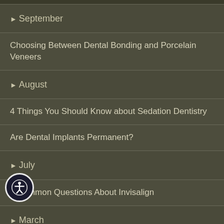▶September
Choosing Between Dental Bonding and Porcelain Veneers
▶August
4 Things You Should Know about Sedation Dentistry
Are Dental Implants Permanent?
▶July
3 Common Questions About Invisalign
▶March